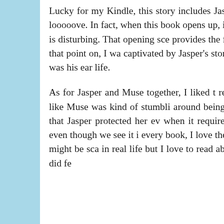Lucky for my Kindle, this story includes Jasper. Jasper is every flavor of dark and brooding alpha male that I looooove. In fact, when this book opens up, it opens with a scene from Jasper's childhood that is as gripping as it is disturbing. That opening scene provides the framework for all of Jasper's effed uppedness (that's a word). From that point on, I was captivated by Jasper's story including who he became and how he dealt with the craziness that was his early life.
As for Jasper and Muse together, I liked the relationship but again that was mostly because of Jasper. I just felt like Muse was kind of stumbling around being shocked by ish that everyone else saw 5 pages ago. But I loved that Jasper protected her even when it required him to overcome fears embedded in him since childhood. And even though we see it in every book, I love the jealous hero who growls at every man who gets near his woman. It might be scary in real life but I love to read about it. Despite Muse's persistent dingyness (again, that's a word), I did fe